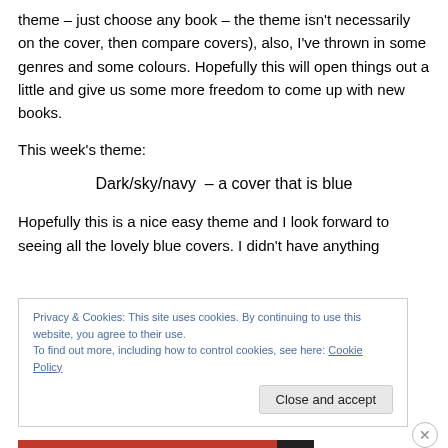theme – just choose any book – the theme isn't necessarily on the cover, then compare covers), also, I've thrown in some genres and some colours. Hopefully this will open things out a little and give us some more freedom to come up with new books.
This week's theme:
Dark/sky/navy – a cover that is blue
Hopefully this is a nice easy theme and I look forward to seeing all the lovely blue covers. I didn't have anything
Privacy & Cookies: This site uses cookies. By continuing to use this website, you agree to their use.
To find out more, including how to control cookies, see here: Cookie Policy
Close and accept